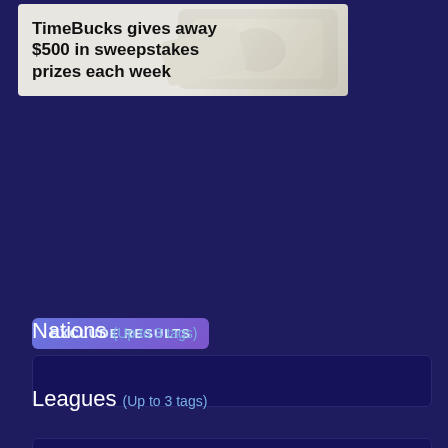[Figure (illustration): Advertisement banner for TimeBucks with light gray background and faded money imagery]
TimeBucks gives away $500 in sweepstakes prizes each week
EXCLUDE RESULTS
Nations (Up to 3 tags)
Leagues (Up to 3 tags)